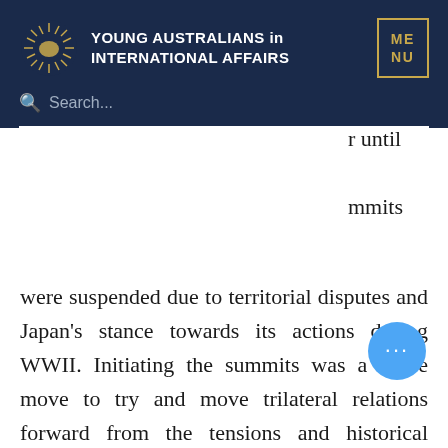YOUNG AUSTRALIANS in INTERNATIONAL AFFAIRS
were suspended due to territorial disputes and Japan's stance towards its actions during WWII. Initiating the summits was a brave move to try and move trilateral relations forward from the tensions and historical baggage that dominated the past.
However, as the hiatus of the summit suggests, underlying issues in the trilateral relationship overpowered the political will to move the relationship forward. Disagreements between the three sides include